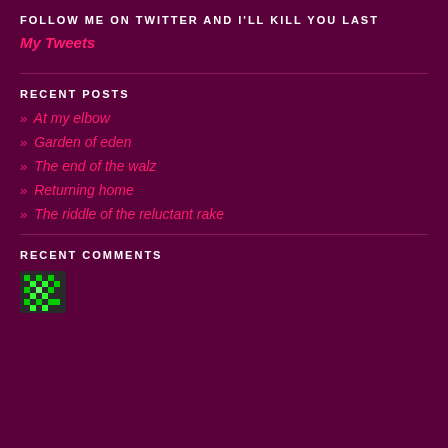FOLLOW ME ON TWITTER AND I'LL KILL YOU LAST
My Tweets
RECENT POSTS
» At my elbow
» Garden of eden
» The end of the walz
» Returning home
» The riddle of the reluctant rake
RECENT COMMENTS
[Figure (photo): Green pixelated avatar/user icon thumbnail]